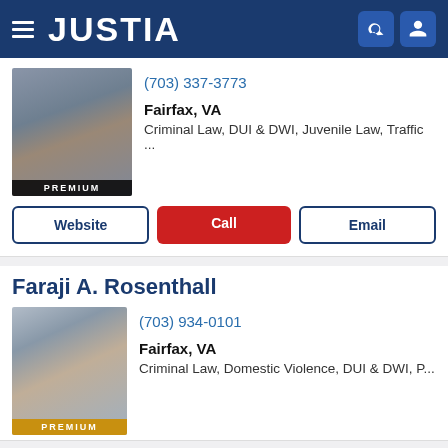JUSTIA
(703) 337-3773
Fairfax, VA
Criminal Law, DUI & DWI, Juvenile Law, Traffic ...
Website | Call | Email
Faraji A. Rosenthall
(703) 934-0101
Fairfax, VA
Criminal Law, Domestic Violence, DUI & DWI, P...
Website | Call | Email
Benjamin Schaefer